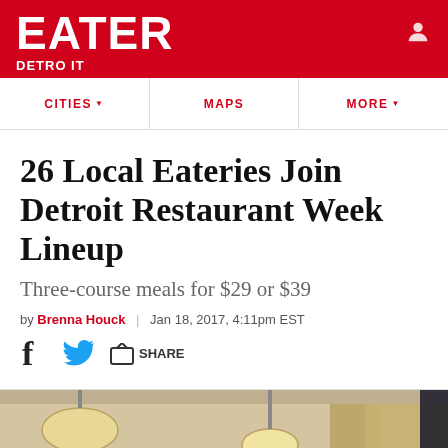EATER DETROIT
CITIES ▾   MAPS   MORE ▾
26 Local Eateries Join Detroit Restaurant Week Lineup
Three-course meals for $29 or $39
by Brenna Houck | Jan 18, 2017, 4:11pm EST
[Figure (photo): Interior of a restaurant dining room with hanging lamps and draped curtains]